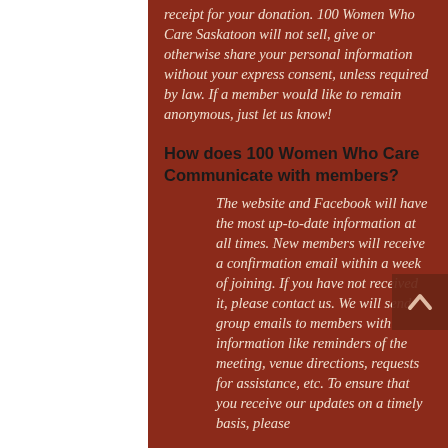receipt for your donation. 100 Women Who Care Saskatoon will not sell, give or otherwise share your personal information without your express consent, unless required by law. If a member would like to remain anonymous, just let us know!
How does 100 Women Who Care Communicate with members?
The website and Facebook will have the most up-to-date information at all times.  New members will receive a confirmation email within a week of joining.  If you have not received it, please contact us.  We will send group emails to members with information like reminders of the meeting, venue directions, requests for assistance, etc.  To ensure that you receive our updates on a timely basis, please